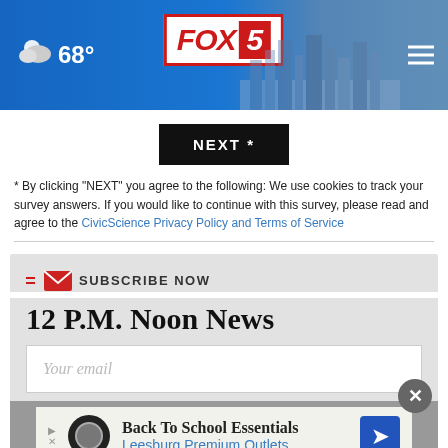FOX 5 | 68°
NEXT *
* By clicking "NEXT" you agree to the following: We use cookies to track your survey answers. If you would like to continue with this survey, please read and agree to the CivicScience Privacy Policy and Terms of Service
SUBSCRIBE NOW
12 P.M. Noon News
Your email
[Figure (other): Advertisement banner: Back To School Essentials - Leesburg Premium Outlets]
Back To School Essentials Leesburg Premium Outlets